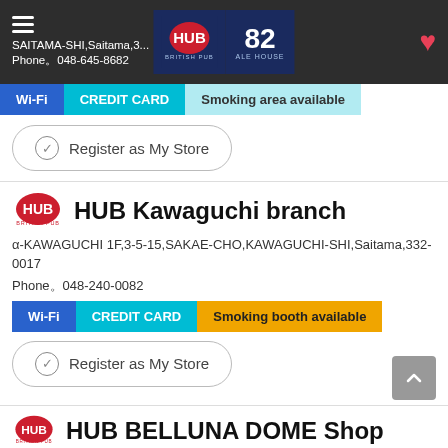SAITAMA-SHI,Saitama,3... Phone。0048-645-8682
Wi-Fi | CREDIT CARD | Smoking area available
Register as My Store
HUB Kawaguchi branch
α-KAWAGUCHI 1F,3-5-15,SAKAE-CHO,KAWAGUCHI-SHI,Saitama,332-0017
Phone。0048-240-0082
Wi-Fi | CREDIT CARD | Smoking booth available
Register as My Store
HUB BELLUNA DOME Shop